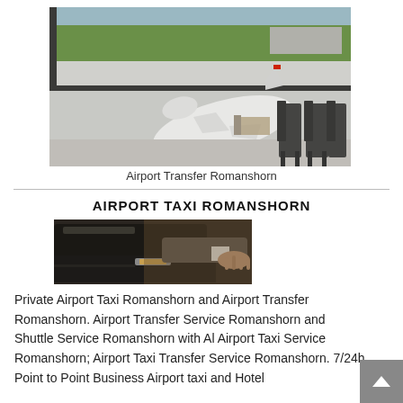[Figure (photo): Airport terminal window view showing a white airplane parked at a gate with boarding equipment attached, green runway visible in background, and black airport seating chairs on the right side]
Airport Transfer Romanshorn
AIRPORT TAXI ROMANSHORN
[Figure (photo): A chauffeur in a suit opening the door of a black luxury car, showing the car's roof and door handle in close-up]
Private Airport Taxi Romanshorn and Airport Transfer Romanshorn. Airport Transfer Service Romanshorn and Shuttle Service Romanshorn with Al Airport Taxi Service Romanshorn; Airport Taxi Transfer Service Romanshorn. 7/24h Point to Point Business Airport taxi and Hotel